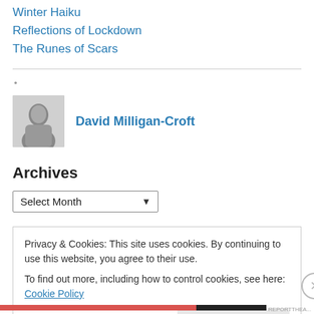Winter Haiku
Reflections of Lockdown
The Runes of Scars
[Figure (photo): Black and white portrait photo of David Milligan-Croft]
David Milligan-Croft
Archives
Select Month
Privacy & Cookies: This site uses cookies. By continuing to use this website, you agree to their use.
To find out more, including how to control cookies, see here: Cookie Policy
Close and accept